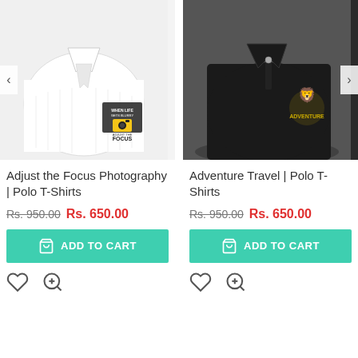[Figure (photo): White polo t-shirt with 'Adjust the Focus' camera graphic print, folded]
[Figure (photo): Black polo t-shirt with 'Adventure Travel' emblem graphic print, folded]
Adjust the Focus Photography | Polo T-Shirts
Rs. 950.00 Rs. 650.00
ADD TO CART
Adventure Travel | Polo T-Shirts
Rs. 950.00 Rs. 650.00
ADD TO CART